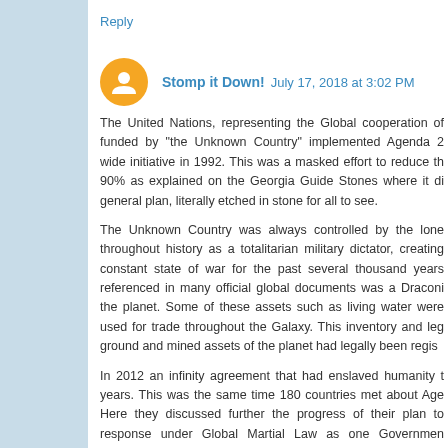Reply
Stomp it Down!  July 17, 2018 at 3:02 PM
The United Nations, representing the Global cooperation of funded by "the Unknown Country" implemented Agenda 2 wide initiative in 1992. This was a masked effort to reduce th 90% as explained on the Georgia Guide Stones where it di general plan, literally etched in stone for all to see.
The Unknown Country was always controlled by the lone throughout history as a totalitarian military dictator, creating constant state of war for the past several thousand years referenced in many official global documents was a Draconi the planet. Some of these assets such as living water were used for trade throughout the Galaxy. This inventory and leg ground and mined assets of the planet had legally been regis
In 2012 an infinity agreement that had enslaved humanity t years. This was the same time 180 countries met about Age Here they discussed further the progress of their plan to response under Global Martial Law as one Governmen December 23rd, 2017 and soon after is when the Manna W the people.